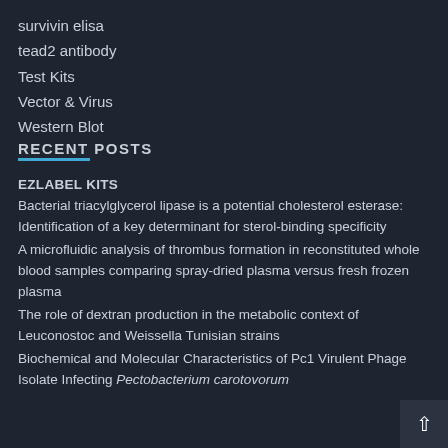survivin elisa
tead2 antibody
Test Kits
Vector & Virus
Western Blot
RECENT POSTS
EZLABEL KITS
Bacterial triacylglycerol lipase is a potential cholesterol esterase: Identification of a key determinant for sterol-binding specificity
A microfluidic analysis of thrombus formation in reconstituted whole blood samples comparing spray-dried plasma versus fresh frozen plasma
The role of dextran production in the metabolic context of Leuconostoc and Weissella Tunisian strains
Biochemical and Molecular Characteristics of Pc1 Virulent Phage Isolate Infecting Pectobacterium carotovorum